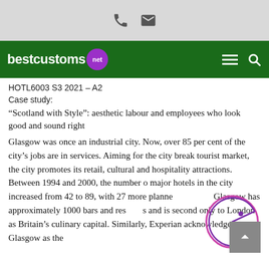bestcustoms.net [navigation bar with phone and email icons]
HOTL6003 S3 2021 – A2
Case study:
“Scotland with Style”: aesthetic labour and employees who look good and sound right
Glasgow was once an industrial city. Now, over 85 per cent of the city’s jobs are in services. Aiming for the city break tourist market, the city promotes its retail, cultural and hospitality attractions. Between 1994 and 2000, the number o major hotels in the city increased from 42 to 89, with 27 more planned. Glasgow has approximately 1000 bars and restaurants and is second only to London as Britain’s culinary capital. Similarly, Experian acknowledges Glasgow as the